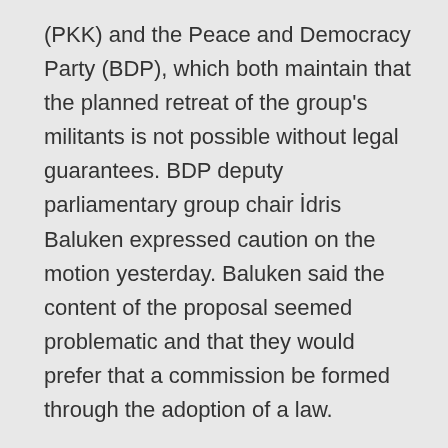(PKK) and the Peace and Democracy Party (BDP), which both maintain that the planned retreat of the group's militants is not possible without legal guarantees. BDP deputy parliamentary group chair İdris Baluken expressed caution on the motion yesterday. Baluken said the content of the proposal seemed problematic and that they would prefer that a commission be formed through the adoption of a law.
8. Thousands rushing into village which Öcalan born in
4 April 2013 /Dicle News Agency
While thousands of people are visiting Amara village within the scope of the celebrations being